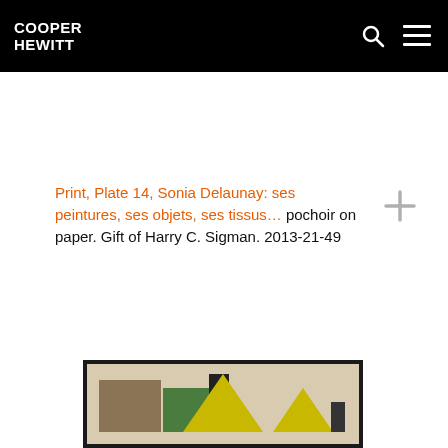COOPER HEWITT
Print, Plate 14, Sonia Delaunay: ses peintures, ses objets, ses tissus… pochoir on paper. Gift of Harry C. Sigman. 2013-21-49
[Figure (photo): Partial view of a geometric abstract print showing colored blocks and triangles in brown, green, yellow, and black on a light background, partially cropped at the bottom of the page.]